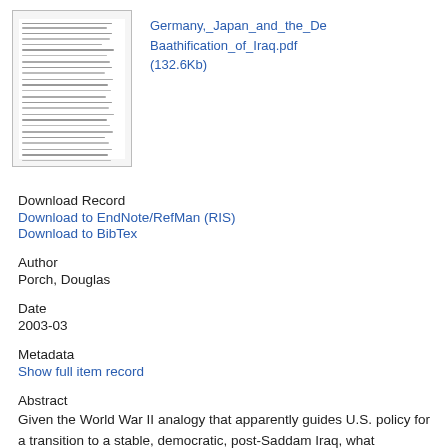[Figure (other): Thumbnail preview of a document page showing dense text content]
Germany,_Japan_and_the_DeBaathification_of_Iraq.pdf (132.6Kb)
Download Record
Download to EndNote/RefMan (RIS)
Download to BibTex
Author
Porch, Douglas
Date
2003-03
Metadata
Show full item record
Abstract
Given the World War II analogy that apparently guides U.S. policy for a transition to a stable, democratic, post-Saddam Iraq, what